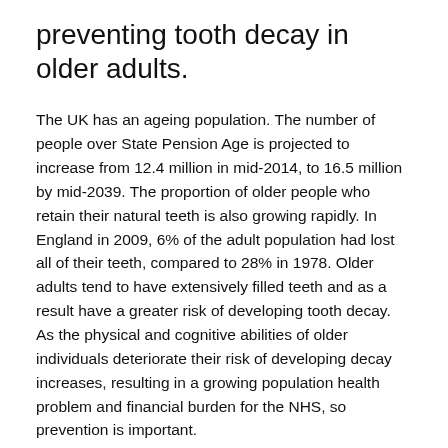preventing tooth decay in older adults.
The UK has an ageing population. The number of people over State Pension Age is projected to increase from 12.4 million in mid-2014, to 16.5 million by mid-2039. The proportion of older people who retain their natural teeth is also growing rapidly. In England in 2009, 6% of the adult population had lost all of their teeth, compared to 28% in 1978. Older adults tend to have extensively filled teeth and as a result have a greater risk of developing tooth decay. As the physical and cognitive abilities of older individuals deteriorate their risk of developing decay increases, resulting in a growing population health problem and financial burden for the NHS, so prevention is important.
National guidance recommends prescription of high